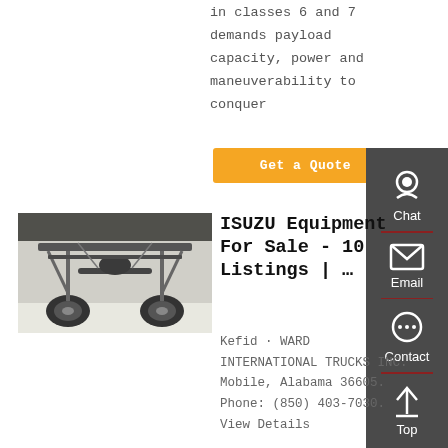in classes 6 and 7 demands payload capacity, power and maneuverability to conquer
Get a Quote
[Figure (photo): Undercarriage view of an Isuzu truck chassis from below, showing suspension, axle, and frame components on a white background.]
ISUZU Equipment For Sale - 10 Listings | …
Kefid · WARD INTERNATIONAL TRUCKS INC. Mobile, Alabama 36605. Phone: (850) 403-7030. View Details